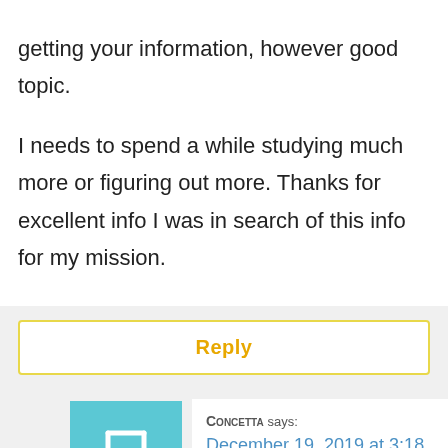getting your information, however good topic. I needs to spend a while studying much more or figuring out more. Thanks for excellent info I was in search of this info for my mission.
Reply
58.
[Figure (illustration): Blue square avatar icon with a stethoscope illustration]
Concetta says:
December 19, 2019 at 3:18 pm